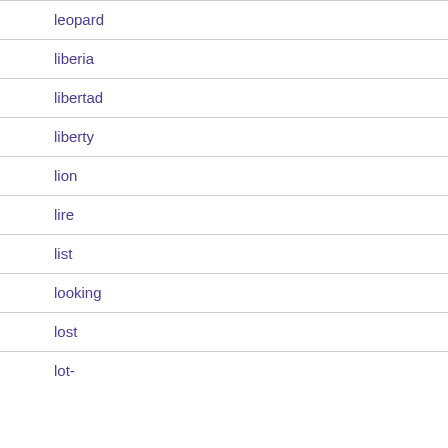leopard
liberia
libertad
liberty
lion
lire
list
looking
lost
lot-